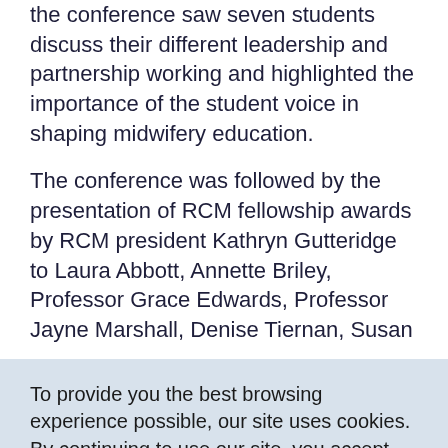the conference saw seven students discuss their different leadership and partnership working and highlighted the importance of the student voice in shaping midwifery education.
The conference was followed by the presentation of RCM fellowship awards by RCM president Kathryn Gutteridge to Laura Abbott, Annette Briley, Professor Grace Edwards, Professor Jayne Marshall, Denise Tiernan, Susan
To provide you the best browsing experience possible, our site uses cookies. By continuing to use our site, you accept our use of cookies. Learn more about cookies we use.